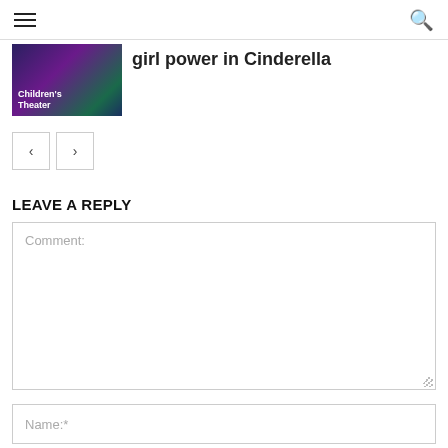Navigation header with hamburger menu and search icon
[Figure (photo): Children's Theater thumbnail image with colorful stage lighting]
girl power in Cinderella
< > navigation buttons
LEAVE A REPLY
Comment:
Name:*